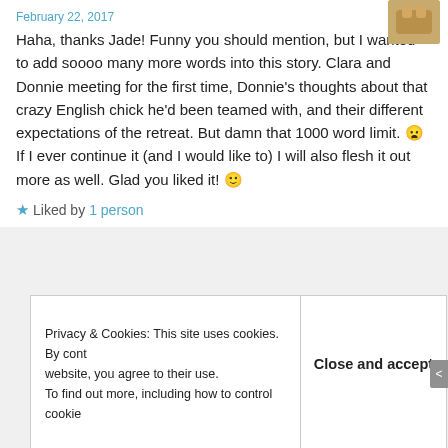February 22, 2017
Haha, thanks Jade! Funny you should mention, but I wanted to add soooo many more words into this story. Clara and Donnie meeting for the first time, Donnie's thoughts about that crazy English chick he'd been teamed with, and their different expectations of the retreat. But damn that 1000 word limit. 😦 If I ever continue it (and I would like to) I will also flesh it out more as well. Glad you liked it! 🙂
★ Liked by 1 person
Privacy & Cookies: This site uses cookies. By continuing to use this website, you agree to their use. To find out more, including how to control cookies, see here: Cookie Policy
Close and accept